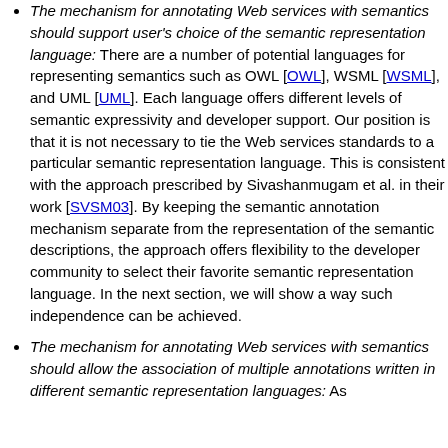The mechanism for annotating Web services with semantics should support user's choice of the semantic representation language: There are a number of potential languages for representing semantics such as OWL [OWL], WSML [WSML], and UML [UML]. Each language offers different levels of semantic expressivity and developer support. Our position is that it is not necessary to tie the Web services standards to a particular semantic representation language. This is consistent with the approach prescribed by Sivashanmugam et al. in their work [SVSM03]. By keeping the semantic annotation mechanism separate from the representation of the semantic descriptions, the approach offers flexibility to the developer community to select their favorite semantic representation language. In the next section, we will show a way such independence can be achieved.
The mechanism for annotating Web services with semantics should allow the association of multiple annotations written in different semantic representation languages: As